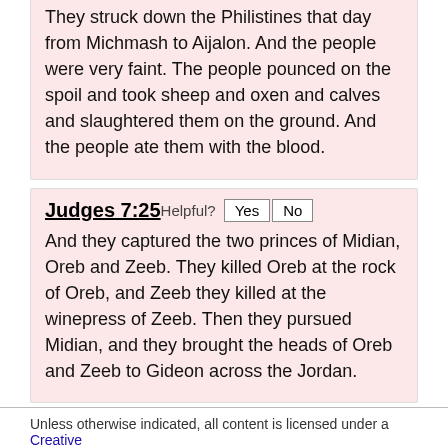They struck down the Philistines that day from Michmash to Aijalon. And the people were very faint. The people pounced on the spoil and took sheep and oxen and calves and slaughtered them on the ground. And the people ate them with the blood.
Judges 7:25
And they captured the two princes of Midian, Oreb and Zeeb. They killed Oreb at the rock of Oreb, and Zeeb they killed at the winepress of Zeeb. Then they pursued Midian, and they brought the heads of Oreb and Zeeb to Gideon across the Jordan.
Unless otherwise indicated, all content is licensed under a Creative